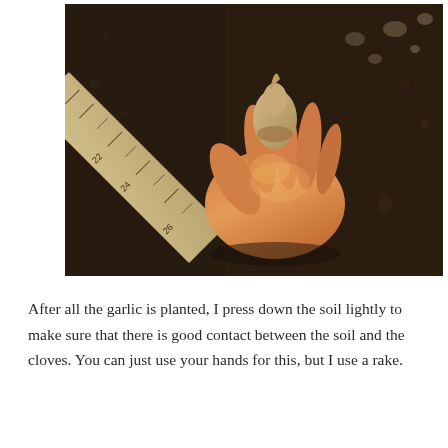[Figure (photo): A hand holding a garlic clove next to a ruler placed in dark soil. The ruler shows markings around 20, 22, 24 inches. Warm golden light illuminates the scene, with gravel and soil visible in the background.]
After all the garlic is planted, I press down the soil lightly to make sure that there is good contact between the soil and the cloves. You can just use your hands for this, but I use a rake.